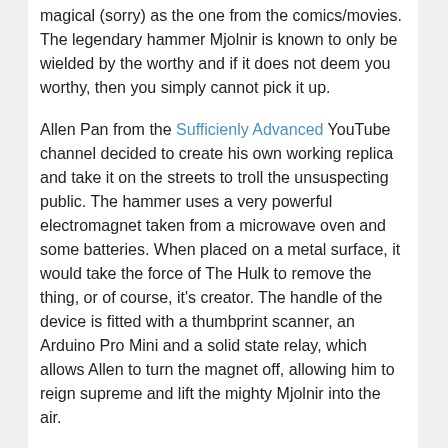magical (sorry) as the one from the comics/movies. The legendary hammer Mjolnir is known to only be wielded by the worthy and if it does not deem you worthy, then you simply cannot pick it up.
Allen Pan from the Sufficienly Advanced YouTube channel decided to create his own working replica and take it on the streets to troll the unsuspecting public. The hammer uses a very powerful electromagnet taken from a microwave oven and some batteries. When placed on a metal surface, it would take the force of The Hulk to remove the thing, or of course, it's creator. The handle of the device is fitted with a thumbprint scanner, an Arduino Pro Mini and a solid state relay, which allows Allen to turn the magnet off, allowing him to reign supreme and lift the mighty Mjolnir into the air.
It's a simple trick, but a fun one none the less, because who wouldn't want to have their own Thor's Hammer to make them look super strong! It's just a shame he can't use it to fly or summon lightning.